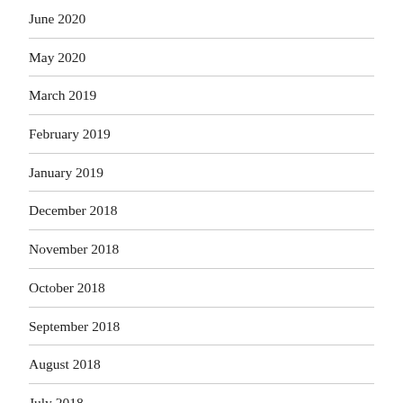June 2020
May 2020
March 2019
February 2019
January 2019
December 2018
November 2018
October 2018
September 2018
August 2018
July 2018